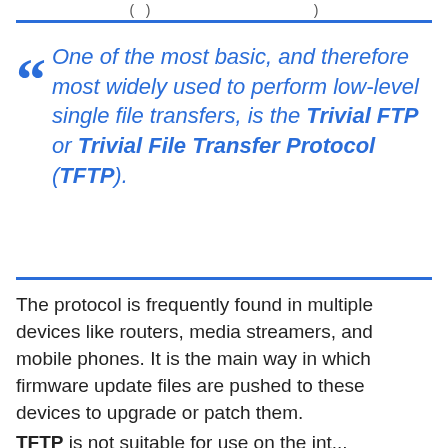One of the most basic, and therefore most widely used to perform low-level single file transfers, is the Trivial FTP or Trivial File Transfer Protocol (TFTP).
The protocol is frequently found in multiple devices like routers, media streamers, and mobile phones. It is the main way in which firmware update files are pushed to these devices to upgrade or patch them.
TFTP is not suitable for use on the internet...